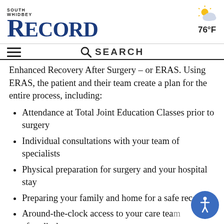SOUTH WHIDBEY RECORD
Enhanced Recovery After Surgery – or ERAS. Using ERAS, the patient and their team create a plan for the entire process, including:
Attendance at Total Joint Education Classes prior to surgery
Individual consultations with your team of specialists
Physical preparation for surgery and your hospital stay
Preparing your family and home for a safe recovery
Around-the-clock access to your care team after discharge